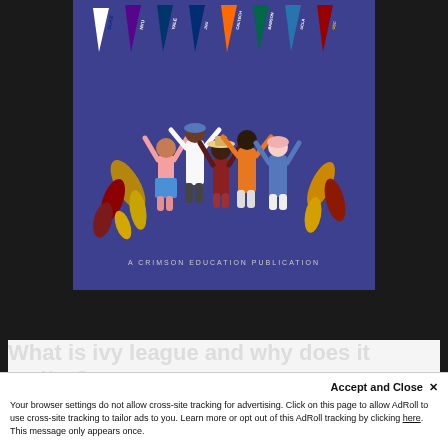[Figure (illustration): Book cover of a Crimson Education publication on a dark background. The cover shows a purple/dark blue background with college pennants at the top (Duke, NYU, Yale, Johns Hopkins, Caltech, Babson, UCLA, USC) and five illustrated figures with raised hands holding each other, surrounded by colorful leaves. Text at bottom reads 'A CRIMSON EDUCATION PUBLICATION'.]
Your browser settings do not allow cross-site tracking for advertising. Click on this page to allow AdRoll to use cross-site tracking to tailor ads to you. Learn more or opt out of this AdRoll tracking by clicking here. This message only appears once.